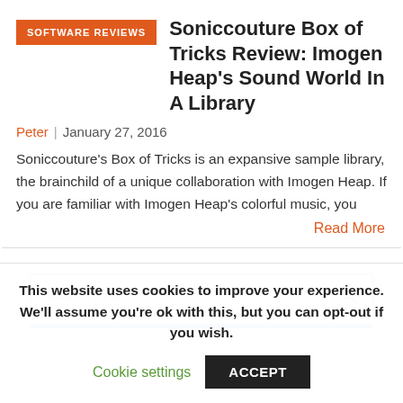SOFTWARE REVIEWS
Soniccouture Box of Tricks Review: Imogen Heap’s Sound World In A Library
Peter | January 27, 2016
Soniccouture’s Box of Tricks is an expansive sample library, the brainchild of a unique collaboration with Imogen Heap. If you are familiar with Imogen Heap’s colorful music, you
Read More
[Figure (screenshot): Search input box with placeholder text 'Search ANR' and a search icon on the right side, with an orange border]
This website uses cookies to improve your experience. We’ll assume you’re ok with this, but you can opt-out if you wish.
Cookie settings   ACCEPT